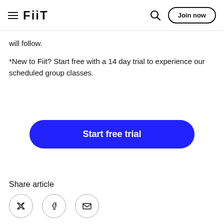≡ FiiT  🔍  Join now
will follow.
*New to Fiit? Start free with a 14 day trial to experience our scheduled group classes.
[Figure (other): Blue rounded rectangle CTA button with white bold text 'Start free trial']
Share article
[Figure (other): Three circular share icons (Twitter/X, Facebook, Email) with thin border outlines, partially cut off at bottom of page]